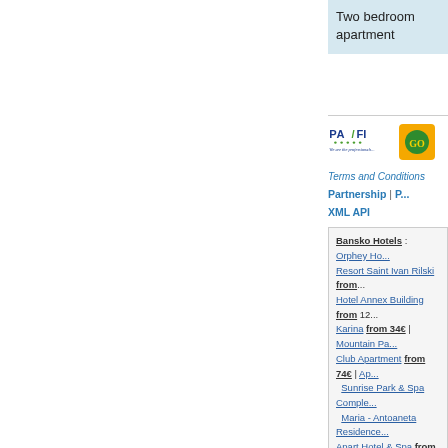Two bedroom apartment
[Figure (logo): PASFI logo with text 'We are the professionals...' and a green/yellow travel company logo]
Terms and Conditions
Partnership | XML API
Bansko Hotels : Orphey Ho... Resort Saint Ivan Rilski from... Hotel Annex Building from 12... Karina from 34€ | Mountain Pa... Club Apartment from 74€ | Ap... Sunrise Park & Spa Comple... Maria - Antoaneta Residence... Apart Hotel & Spa from 56€ | 23€ | Kralev Dvor Hotel from... from 15€ | Pirina Club Hotel Hotel from 24€ | St. George Trinity Residence Bansko fro... Roma...
© Copyright 2...